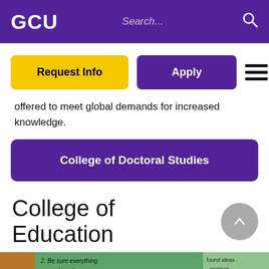GCU | Search...
[Figure (screenshot): Navigation buttons: Request Info (yellow), Apply (purple), hamburger menu icon]
offered to meet global demands for increased knowledge.
[Figure (screenshot): Purple button labeled 'College of Doctoral Studies']
College of Education
[Figure (photo): Partial photo of a classroom with handwritten notes on teal/green boards]